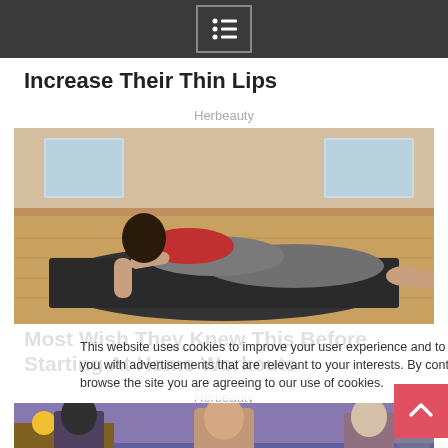Navigation menu icon
Increase Their Thin Lips
Herbeauty
[Figure (photo): Woman in red top and grey leggings performing a yoga/exercise pose on a dark mat on a wooden floor]
Most Wish They Knew This Before Starting At Home Workouts
Herbeauty
[Figure (photo): TV talk show scene with host and guests, sunflowers visible in foreground]
This website uses cookies to improve your user experience and to provide you with advertisements that are relevant to your interests. By continuing to browse the site you are agreeing to our use of cookies.